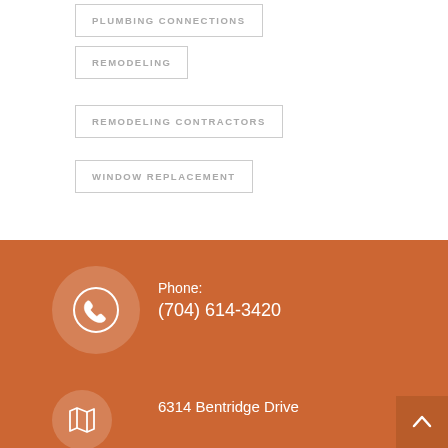PLUMBING CONNECTIONS
REMODELING
REMODELING CONTRACTORS
WINDOW REPLACEMENT
Phone:
(704) 614-3420
6314 Bentridge Drive
[Figure (illustration): Phone icon in white circle on orange background]
[Figure (illustration): Map/location icon in white circle on orange background]
[Figure (illustration): Back to top arrow button in darker orange square]